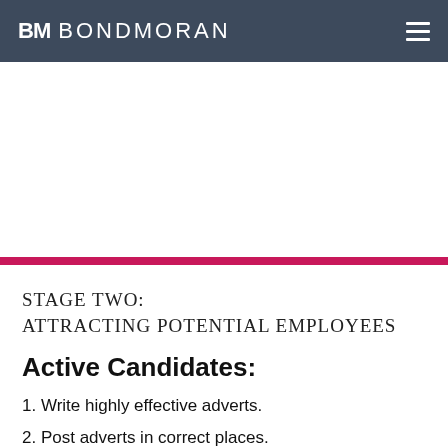BM BONDMORAN
STAGE TWO:
ATTRACTING POTENTIAL EMPLOYEES
Active Candidates:
1. Write highly effective adverts.
2. Post adverts in correct places.